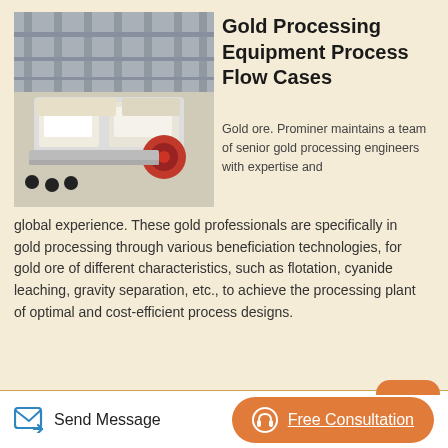[Figure (photo): Industrial gold processing conveyor/screening equipment in a factory building]
Gold Processing Equipment Process Flow Cases
Gold ore. Prominer maintains a team of senior gold processing engineers with expertise and global experience. These gold professionals are specifically in gold processing through various beneficiation technologies, for gold ore of different characteristics, such as flotation, cyanide leaching, gravity separation, etc., to achieve the processing plant of optimal and cost-efficient process designs.
[Figure (photo): Heavy duty orange industrial washing/spiral classifier equipment in a warehouse]
Heavy Duty Washing Equipment For Aggregate And Gold
Send Message   Free Consultation